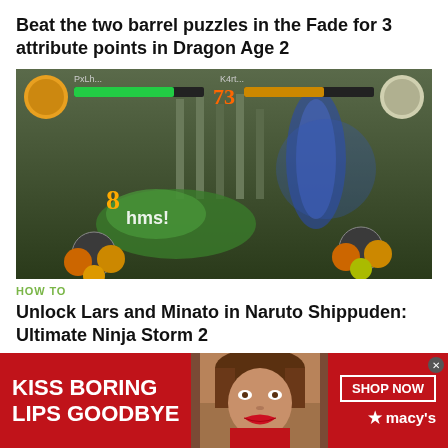Beat the two barrel puzzles in the Fade for 3 attribute points in Dragon Age 2
[Figure (screenshot): Video game screenshot from Naruto Shippuden: Ultimate Ninja Storm 2 showing two characters fighting with health bars at the top]
HOW TO
Unlock Lars and Minato in Naruto Shippuden: Ultimate Ninja Storm 2
[Figure (photo): Advertisement banner for Macy's featuring a woman's face with red lips, text 'KISS BORING LIPS GOODBYE' and 'SHOP NOW' button with Macy's logo]